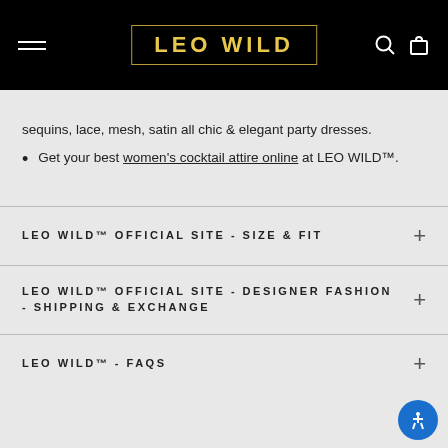LEO WILD
sequins, lace, mesh, satin all chic & elegant party dresses.
Get your best women's cocktail attire online at LEO WILD™.
LEO WILD™ OFFICIAL SITE - SIZE & FIT
LEO WILD™ OFFICIAL SITE - DESIGNER FASHION - SHIPPING & EXCHANGE
LEO WILD™ - FAQS